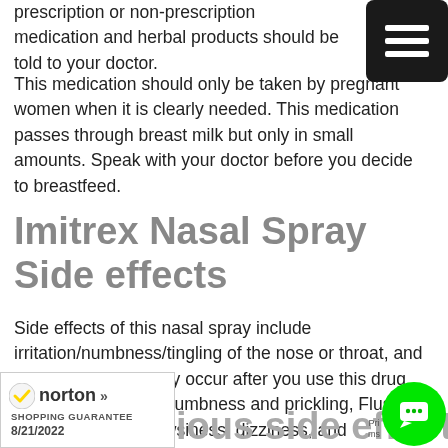prescription or non-prescription medication and herbal products should be told to your doctor.
This medication should only be taken by pregnant women when it is clearly needed. This medication passes through breast milk but only in small amounts. Speak with your doctor before you decide to breastfeed.
Imitrex Nasal Spray Side effects
Side effects of this nasal spray include irritation/numbness/tingling of the nose or throat, and an unusual taste may occur after you use this drug. Feelings of tingling/numbness and prickling, Flushing, heat, tiredness, drowsiness, dizziness, and weakness. May also occur. If you experience these effects, speak with your doctor or pharmacist promptly.
[Figure (logo): Norton Shopping Guarantee badge with checkmark, dated 8/21/2022]
[Figure (other): Green circular chat button icon]
ious side effects